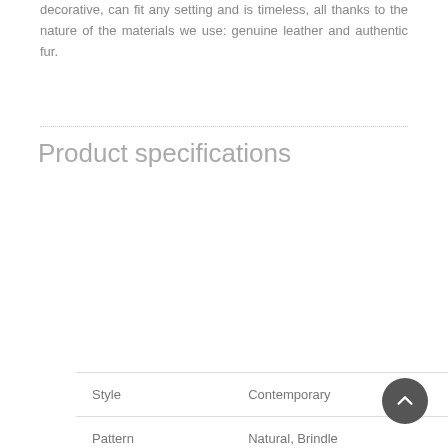decorative, can fit any setting and is timeless, all thanks to the nature of the materials we use: genuine leather and authentic fur.
Product specifications
|  |  |
| --- | --- |
| Style | Contemporary |
| Pattern | Natural, Brindle |
| Color | Brown / White |
| Upholstery material | Cowhide |
| Fill material | Plush sponge |
| Dimensions | 40 x 40 x 40 cm |